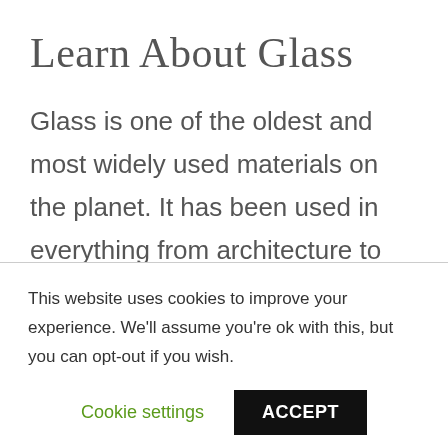Learn About Glass
Glass is one of the oldest and most widely used materials on the planet. It has been used in everything from architecture to scientific equipment and
This website uses cookies to improve your experience. We'll assume you're ok with this, but you can opt-out if you wish.
Cookie settings    ACCEPT